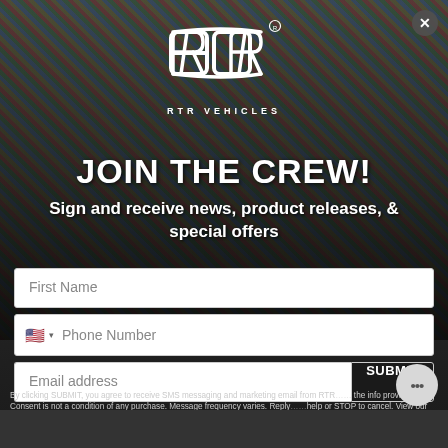[Figure (screenshot): RTR Vehicles email/SMS signup popup modal with car background, logo, headline, form fields, and fine print]
JOIN THE CREW!
Sign and receive news, product releases, & special offers
First Name
Phone Number
Email address
SUBMIT
By clicking SUBMIT, you agree to receive SMS messaging and marketing email from RTR... the info provided. Consent is not a condition of any purchase. Message frequency varies. Reply... help or STOP to cancel. View our Privacy Policy here.